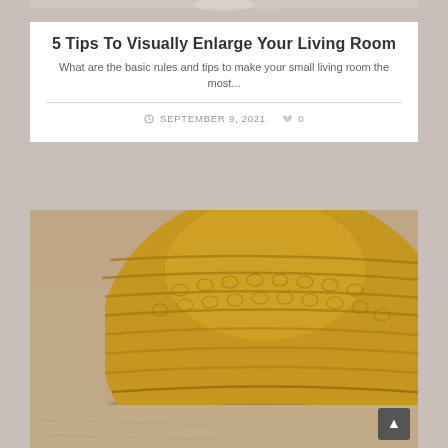[Figure (photo): Top portion of a decorative interior design blog card showing a cropped photo at top]
5 Tips To Visually Enlarge Your Living Room
What are the basic rules and tips to make your small living room the most...
SEPTEMBER 9, 2021   0
[Figure (photo): Close-up photo of a mustard yellow knitted pouf/ottoman sitting on a beige carpet]